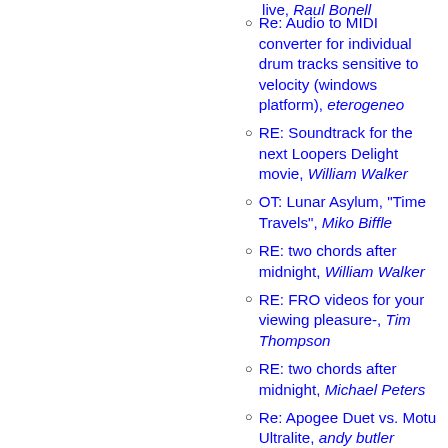Re: Audio to MIDI converter for individual drum tracks sensitive to velocity (windows platform), eterogeneo
RE: Soundtrack for the next Loopers Delight movie, William Walker
OT: Lunar Asylum, "Time Travels", Miko Biffle
RE: two chords after midnight, William Walker
RE: FRO videos for your viewing pleasure-, Tim Thompson
RE: two chords after midnight, Michael Peters
Re: Apogee Duet vs. Motu Ultralite, andy butler
Re: looping with albeton